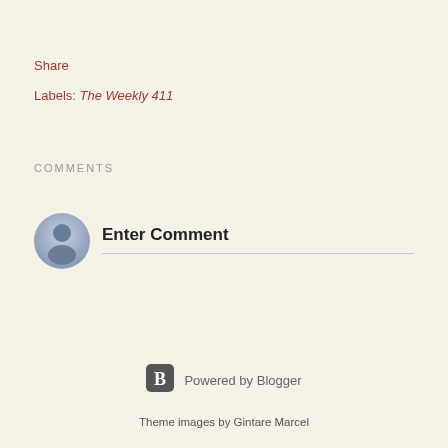Share
Labels: The Weekly 411
COMMENTS
[Figure (other): Default user avatar circle with person silhouette in blue-grey tones]
Enter Comment
[Figure (logo): Blogger 'B' logo icon in grey rounded square]
Powered by Blogger
Theme images by Gintare Marcel